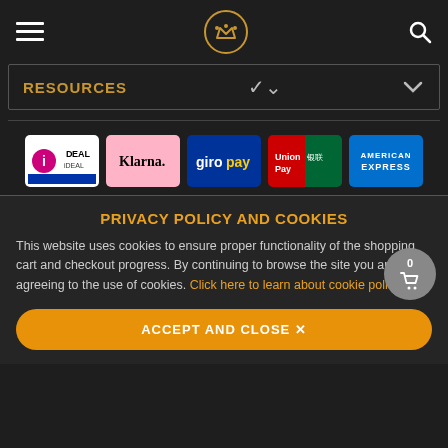Header bar with hamburger menu, crown logo, and search icon
RESOURCES
[Figure (logo): Payment method logos: iDEAL, Klarna, giropay, UnionPay, American Express]
PRIVACY POLICY AND COOKIES
This website uses cookies to ensure proper functionality of the shopping cart and checkout progress. By continuing to browse the site you are agreeing to the use of cookies. Click here to learn about cookie policy.
ACCEPT AND CLOSE ✕